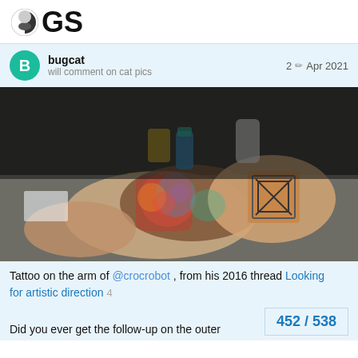GS
bugcat
will comment on cat pics
2 ✏ Apr 2021
[Figure (photo): A tattooed arm resting on a table, showing colorful tattoo artwork including what appears to be a character and a framed picture design. Various items like cups are visible in the background.]
Tattoo on the arm of @crocrobot , from his 2016 thread Looking for artistic direction 4
Did you ever get the follow-up on the outer
452 / 538